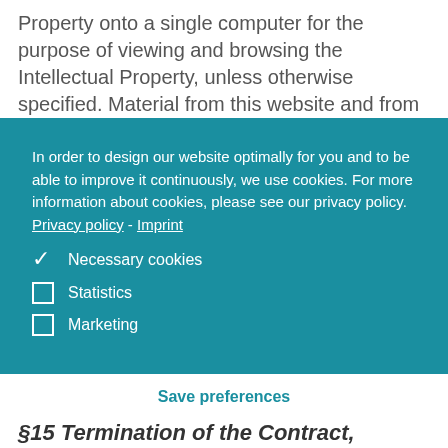Property onto a single computer for the purpose of viewing and browsing the Intellectual Property, unless otherwise specified. Material from this website and from any other website owned or
In order to design our website optimally for you and to be able to improve it continuously, we use cookies. For more information about cookies, please see our privacy policy. Privacy policy - Imprint
✓ Necessary cookies
☐ Statistics
☐ Marketing
Save preferences
§15 Termination of the Contract, Refund of